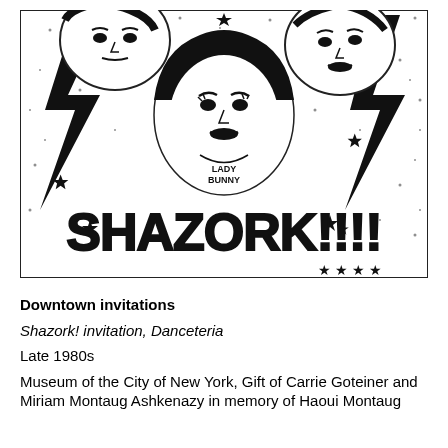[Figure (illustration): Black and white graphic illustration for a Shazork! event invitation. Features stylized faces including one labeled 'Lady Bunny', with large lightning bolts, stars, and bold text reading 'SHAZORK!!!!' at the bottom.]
Downtown invitations
Shazork! invitation, Danceteria
Late 1980s
Museum of the City of New York, Gift of Carrie Goteiner and Miriam Montaug Ashkenazy in memory of Haoui Montaug